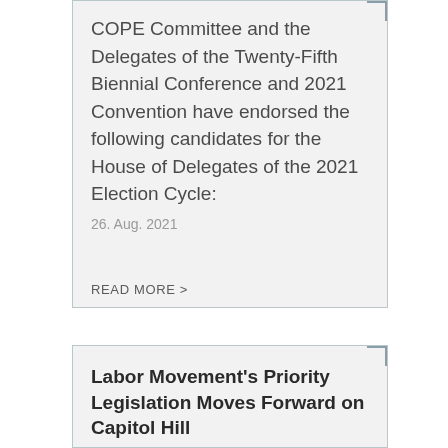COPE Committee and the Delegates of the Twenty-Fifth Biennial Conference and 2021 Convention have endorsed the following candidates for the House of Delegates of the 2021 Election Cycle:
26. Aug. 2021
READ MORE >
Labor Movement's Priority Legislation Moves Forward on Capitol Hill
The House of Representatives on Tuesday voted to proceed with